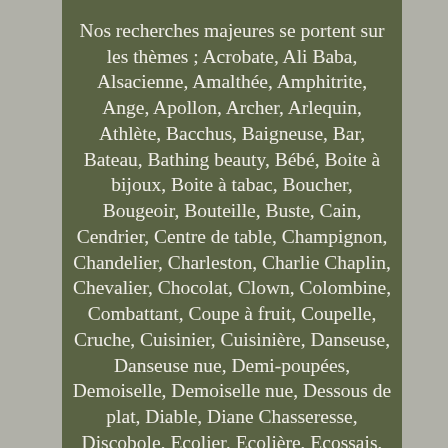Nos recherches majeures se portent sur les thèmes ; Acrobate, Ali Baba, Alsacienne, Amalthée, Amphitrite, Ange, Apollon, Archer, Arlequin, Athlète, Bacchus, Baigneuse, Bar, Bateau, Bathing beauty, Bébé, Boite à bijoux, Boite à tabac, Boucher, Bougeoir, Bouteille, Buste, Cain, Cendrier, Centre de table, Champignon, Chandelier, Charleston, Charlie Chaplin, Chevalier, Chocolat, Clown, Colombine, Combattant, Coupe à fruit, Coupelle, Cruche, Cuisinier, Cuisinière, Danseuse, Danseuse nue, Demi-poupées, Demoiselle, Demoiselle nue, Dessous de plat, Diable, Diane Chasseresse, Discobole, Ecolier, Ecolière, Ecossais, Ecritoire, Elfe, Encrier, Enfant, Escrime, Fée, Femme nue, Fermière, Fête, Figurine, Fille, Fillette, Flamenco, Fleur, Fontaine, Foot, Football, Forgeron, Franklin, Fruitier, Garçon, Geisha, Gentleman, Gladiateur, Golf, Golfeur, Golfeuse, Groom, Half Doll Pin cushions, pincushion, Hollandaise, Homme nu, Huile, Icare, Ivresse, Jardinière, Jockey, La cuisine, La grande gorgée, La justice, La moisson, La naissance, La semeuse, La victoire, La vigne, Le